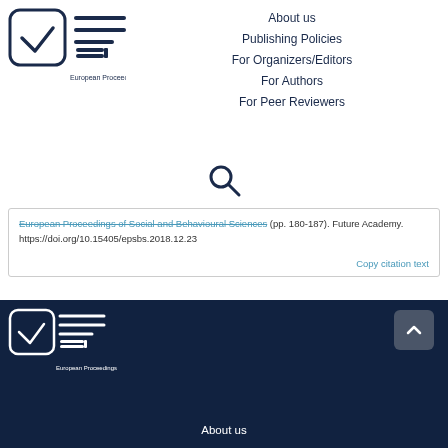[Figure (logo): European Proceedings logo with checkmark in rounded square and EP text]
About us
Publishing Policies
For Organizers/Editors
For Authors
For Peer Reviewers
[Figure (other): Search icon (magnifying glass)]
European Proceedings of Social and Behavioural Sciences (pp. 180-187). Future Academy. https://doi.org/10.15405/epsbs.2018.12.23
Copy citation text
[Figure (logo): European Proceedings footer logo (white on dark background)]
About us